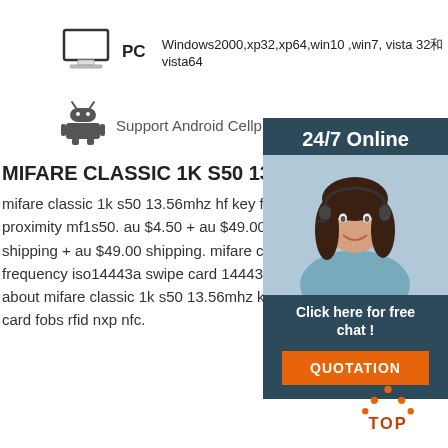[Figure (illustration): PC monitor icon with label PC and text: Windows2000,xp32,xp64,win10 ,win7, vista 32和vista64]
[Figure (illustration): Android robot icon with text: Support Android Cellphone]
MIFARE CLASSIC 1K S50 13.56MHz KEY TAG FO
mifare classic 1k s50 13.56mhz hf key fob tags rfid proximity mf1s50. au $4.50 + au $49.00 shipping + shipping + au $49.00 shipping. mifare classic 1k s50 frequency iso14443a swipe card 14443a tags. au $3 about mifare classic 1k s50 13.56mhz key tag fob is card fobs rfid nxp nfc.
[Figure (photo): Sidebar with dark blue background showing 24/7 Online text, photo of smiling woman with headset, Click here for free chat! text, and QUOTATION orange button]
[Figure (illustration): Get Price orange button]
[Figure (logo): TOP logo with orange dots and text TOP]